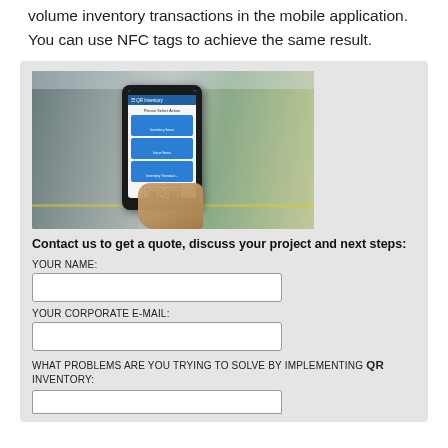volume inventory transactions in the mobile application. You can use NFC tags to achieve the same result.
[Figure (photo): Photo of a hand holding a smartphone displaying a QR Inventory app interface with blue buttons and a QR code, in a factory/warehouse environment.]
Contact us to get a quote, discuss your project and next steps:
Your name:
Your corporate e-mail:
What problems are you trying to solve by implementing QR Inventory: